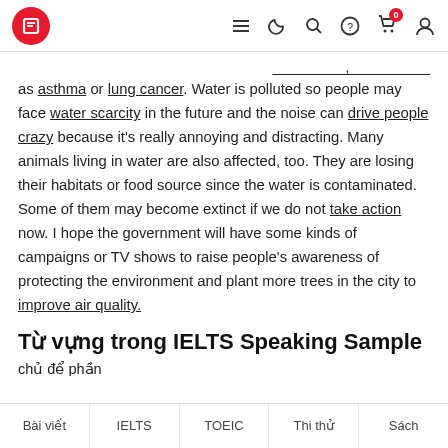Navigation bar with logo and icons
as asthma or lung cancer. Water is polluted so people may face water scarcity in the future and the noise can drive people crazy because it's really annoying and distracting. Many animals living in water are also affected, too. They are losing their habitats or food source since the water is contaminated. Some of them may become extinct if we do not take action now. I hope the government will have some kinds of campaigns or TV shows to raise people's awareness of protecting the environment and plant more trees in the city to improve air quality.
Từ vựng trong IELTS Speaking Sample
Bài viết | IELTS | TOEIC | Thi thử | Sách